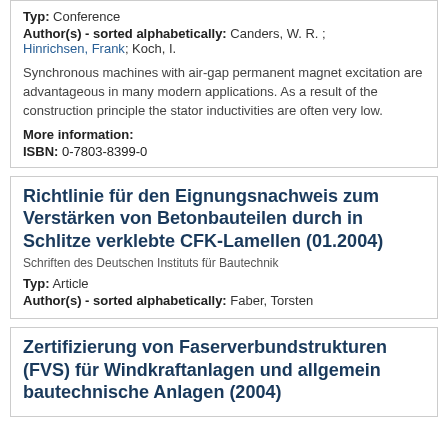Typ: Conference
Author(s) - sorted alphabetically: Canders, W. R. ; Hinrichsen, Frank; Koch, I.
Synchronous machines with air-gap permanent magnet excitation are advantageous in many modern applications. As a result of the construction principle the stator inductivities are often very low.
More information:
ISBN: 0-7803-8399-0
Richtlinie für den Eignungsnachweis zum Verstärken von Betonbauteilen durch in Schlitze verklebte CFK-Lamellen (01.2004)
Schriften des Deutschen Instituts für Bautechnik
Typ: Article
Author(s) - sorted alphabetically: Faber, Torsten
Zertifizierung von Faserverbundstrukturen (FVS) für Windkraftanlagen und allgemein bautechnische Anlagen (2004)